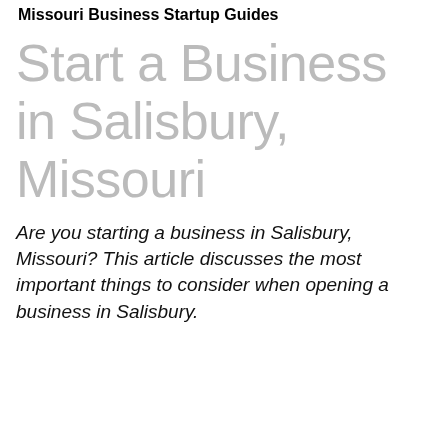Missouri Business Startup Guides
Start a Business in Salisbury, Missouri
Are you starting a business in Salisbury, Missouri? This article discusses the most important things to consider when opening a business in Salisbury.